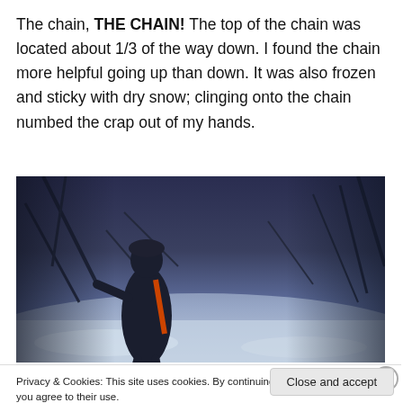The chain, THE CHAIN!  The top of the chain was located about 1/3 of the way down. I found the chain more helpful going up than down.  It was also frozen and sticky with dry snow; clinging onto the chain numbed the crap out of my hands.
[Figure (photo): A person wearing a black jacket and backpack with orange straps, navigating through a snowy wooded hillside with bare branches and snow-covered ground, taken from a low angle.]
Privacy & Cookies: This site uses cookies. By continuing to use this website, you agree to their use.
To find out more, including how to control cookies, see here: Cookie Policy
Close and accept